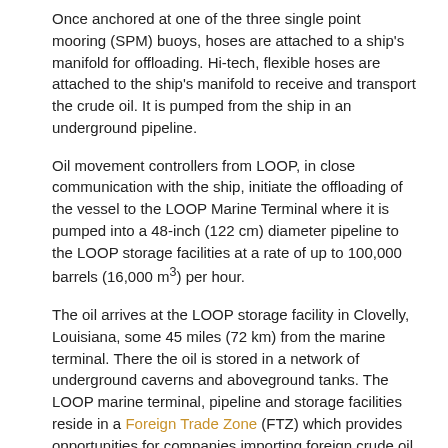Once anchored at one of the three single point mooring (SPM) buoys, hoses are attached to a ship's manifold for offloading. Hi-tech, flexible hoses are attached to the ship's manifold to receive and transport the crude oil. It is pumped from the ship in an underground pipeline.
Oil movement controllers from LOOP, in close communication with the ship, initiate the offloading of the vessel to the LOOP Marine Terminal where it is pumped into a 48-inch (122 cm) diameter pipeline to the LOOP storage facilities at a rate of up to 100,000 barrels (16,000 m³) per hour.
The oil arrives at the LOOP storage facility in Clovelly, Louisiana, some 45 miles (72 km) from the marine terminal. There the oil is stored in a network of underground caverns and aboveground tanks. The LOOP marine terminal, pipeline and storage facilities reside in a Foreign Trade Zone (FTZ) which provides opportunities for companies importing foreign crude oil to optimize management of their U.S. Customs obligations.